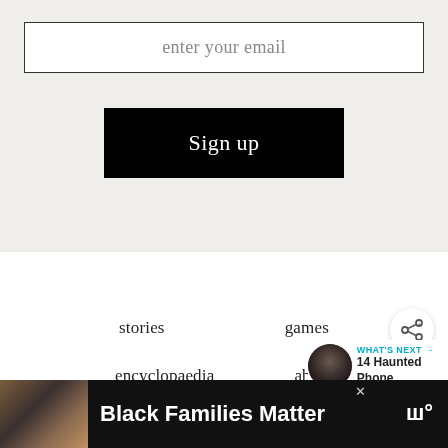enter your email
Sign up
stories
games
encyclopaedia
about
[Figure (infographic): Share button icon (circle with share symbol)]
WHAT'S NEXT → 14 Haunted Phone...
[Figure (photo): Thumbnail image for 'What's Next' section showing a dark primate/gorilla face]
Black Families Matter
[Figure (photo): Advertisement banner showing smiling Black family with text 'Black Families Matter']